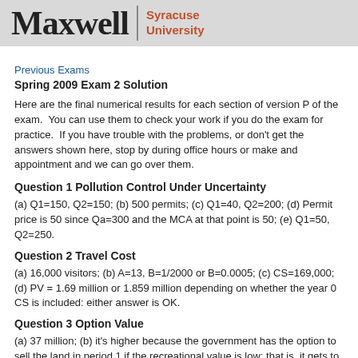Maxwell | Syracuse University
Previous Exams
Spring 2009 Exam 2 Solution
Here are the final numerical results for each section of version P of the exam.  You can use them to check your work if you do the exam for practice.  If you have trouble with the problems, or don't get the answers shown here, stop by during office hours or make and appointment and we can go over them.
Question 1 Pollution Control Under Uncertainty
(a) Q1=150, Q2=150; (b) 500 permits; (c) Q1=40, Q2=200; (d) Permit price is 50 since Qa=300 and the MCA at that point is 50; (e) Q1=50, Q2=250.
Question 2 Travel Cost
(a) 16,000 visitors; (b) A=13, B=1/2000 or B=0.0005; (c) CS=169,000; (d) PV = 1.69 million or 1.859 million depending on whether the year 0 CS is included: either answer is OK.
Question 3 Option Value
(a) 37 million; (b) it's higher because the government has the option to sell the land in period 1 if the recreational value is low; that is, it gets to pick the $60 million recreation value if that happens or pick the $25 million sale price if the recreation value is only $15 million. (c) do not